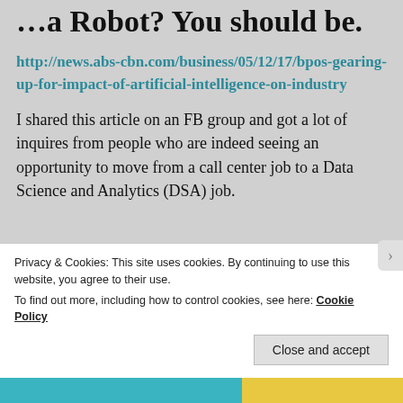...a Robot? You should be.
http://news.abs-cbn.com/business/05/12/17/bpos-gearing-up-for-impact-of-artificial-intelligence-on-industry
I shared this article on an FB group and got a lot of inquires from people who are indeed seeing an opportunity to move from a call center job to a Data Science and Analytics (DSA) job.
Privacy & Cookies: This site uses cookies. By continuing to use this website, you agree to their use.
To find out more, including how to control cookies, see here: Cookie Policy